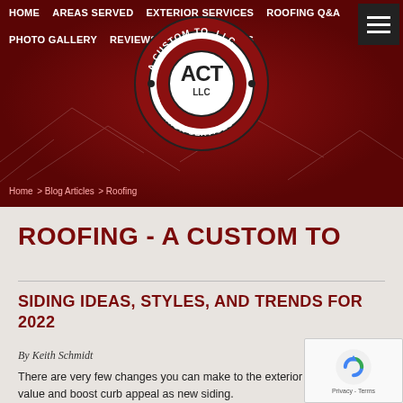HOME   AREAS SERVED   EXTERIOR SERVICES   ROOFING Q&A   PHOTO GALLERY   REVIEWS   BLOG ARTICLES
[Figure (logo): A Custom To, LLC Exterior Services circular logo with ACT LLC text in center, red and white color scheme]
Home > Blog Articles > Roofing
ROOFING - A CUSTOM TO
SIDING IDEAS, STYLES, AND TRENDS FOR 2022
By Keith Schmidt
There are very few changes you can make to the exterior of your that add value and boost curb appeal as new siding.